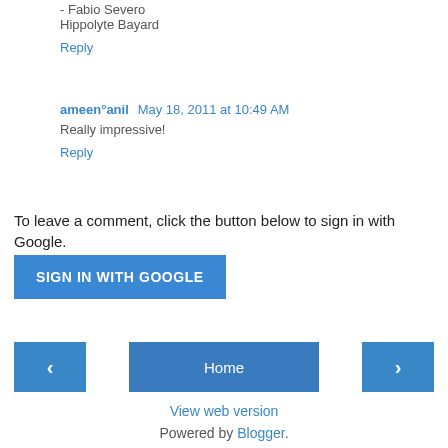- Fabio Severo
Hippolyte Bayard
Reply
ameen°anil  May 18, 2011 at 10:49 AM
Really impressive!
Reply
To leave a comment, click the button below to sign in with Google.
[Figure (other): SIGN IN WITH GOOGLE button (blue)]
[Figure (other): Navigation bar with left arrow button, Home button, and right arrow button]
View web version
Powered by Blogger.